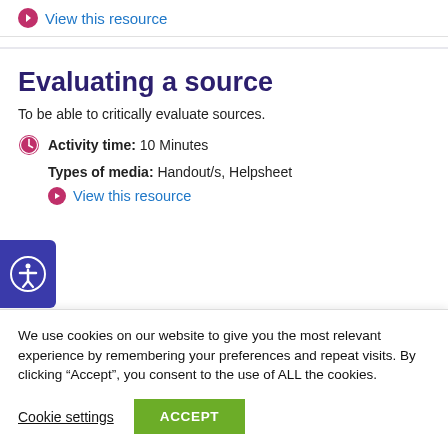View this resource
Evaluating a source
To be able to critically evaluate sources.
Activity time: 10 Minutes
Types of media: Handout/s, Helpsheet
View this resource
We use cookies on our website to give you the most relevant experience by remembering your preferences and repeat visits. By clicking “Accept”, you consent to the use of ALL the cookies.
Cookie settings
ACCEPT